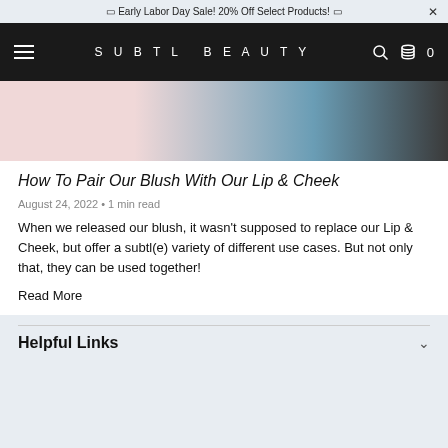🎁 Early Labor Day Sale! 20% Off Select Products! 🎁
[Figure (screenshot): SUBTL BEAUTY website navigation bar with hamburger menu, brand name, search icon, and cart icon showing 0 items]
[Figure (photo): Partial photo showing pink background on left and person wearing blue ribbed top on right with dark background]
How To Pair Our Blush With Our Lip & Cheek
August 24, 2022 • 1 min read
When we released our blush, it wasn't supposed to replace our Lip & Cheek, but offer a subtl(e) variety of different use cases. But not only that, they can be used together!
Read More
Helpful Links